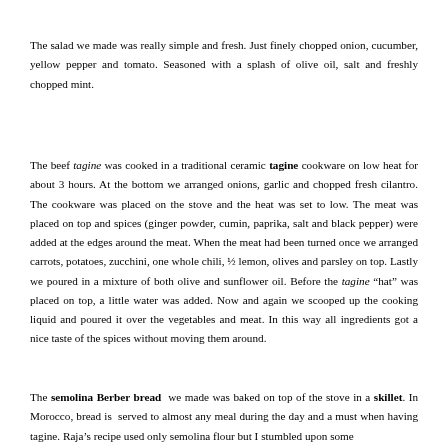The salad we made was really simple and fresh. Just finely chopped onion, cucumber, yellow pepper and tomato. Seasoned with a splash of olive oil, salt and freshly chopped mint.
The beef tagine was cooked in a traditional ceramic tagine cookware on low heat for about 3 hours. At the bottom we arranged onions, garlic and chopped fresh cilantro. The cookware was placed on the stove and the heat was set to low. The meat was placed on top and spices (ginger powder, cumin, paprika, salt and black pepper) were added at the edges around the meat. When the meat had been turned once we arranged carrots, potatoes, zucchini, one whole chili, ½ lemon, olives and parsley on top. Lastly we poured in a mixture of both olive and sunflower oil. Before the tagine “hat” was placed on top, a little water was added. Now and again we scooped up the cooking liquid and poured it over the vegetables and meat. In this way all ingredients got a nice taste of the spices without moving them around.
The semolina Berber bread we made was baked on top of the stove in a skillet. In Morocco, bread is served to almost any meal during the day and a must when having tagine. Raja’s recipe used only semolina flour but I stumbled upon some